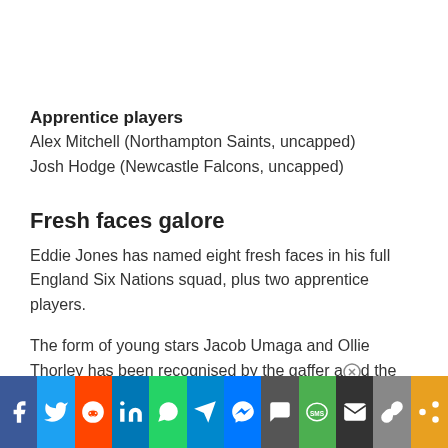Apprentice players
Alex Mitchell (Northampton Saints, uncapped)
Josh Hodge (Newcastle Falcons, uncapped)
Fresh faces galore
Eddie Jones has named eight fresh faces in his full England Six Nations squad, plus two apprentice players.
The form of young stars Jacob Umaga and Ollie Thorley has been recognised by the gaffer a⊗d the two apprentice players will only train.
[Figure (infographic): Social sharing bar with icons: Facebook, Twitter, Reddit, LinkedIn, WhatsApp, Telegram, Messenger, Comments, SMS, Email, Link, Share]